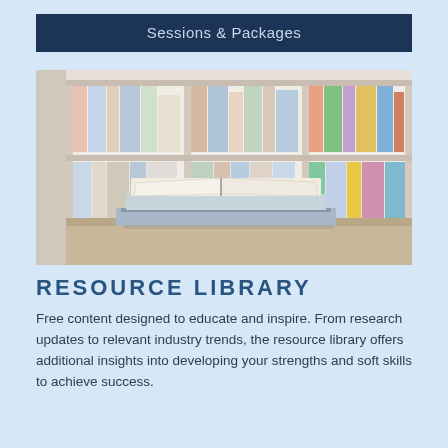Sessions & Packages
[Figure (photo): Stack of books with an open book on top, in front of a white bookshelf filled with colorful books and binders]
RESOURCE LIBRARY
Free content designed to educate and inspire. From research updates to relevant industry trends, the resource library offers additional insights into developing your strengths and soft skills to achieve success.